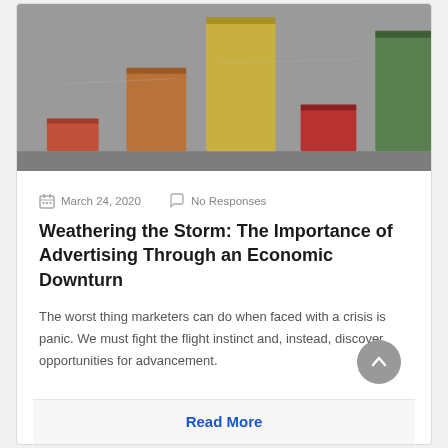[Figure (photo): Photograph of colorful bar chart blocks arranged on a surface — brick-red short bar, medium brown bar, tall golden/yellow bar, short red bar, and tall green bar on a gray background]
March 24, 2020   No Responses
Weathering the Storm: The Importance of Advertising Through an Economic Downturn
The worst thing marketers can do when faced with a crisis is panic. We must fight the flight instinct and, instead, discover opportunities for advancement.
Read More